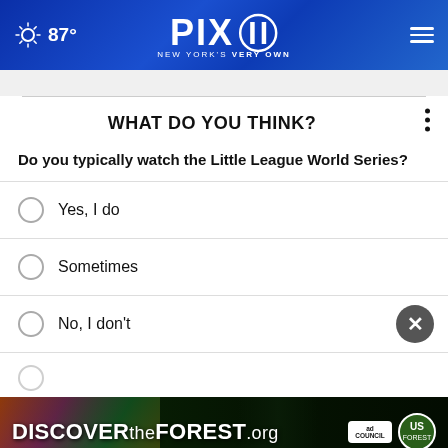PIX11 NEW YORK'S VERY OWN — 87°
WHAT DO YOU THINK?
Do you typically watch the Little League World Series?
Yes, I do
Sometimes
No, I don't
[Figure (screenshot): Discover the Forest ad banner with forest background, ad council and USFS badges]
DISCOVERtheFOREST.org